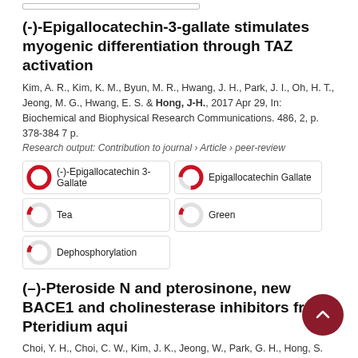(-)-Epigallocatechin-3-gallate stimulates myogenic differentiation through TAZ activation
Kim, A. R., Kim, K. M., Byun, M. R., Hwang, J. H., Park, J. I., Oh, H. T., Jeong, M. G., Hwang, E. S. & Hong, J-H., 2017 Apr 29, In: Biochemical and Biophysical Research Communications. 486, 2, p. 378-384 7 p.
Research output: Contribution to journal › Article › peer-review
[Figure (infographic): Five keyword badges with donut-style percentage icons: (-)-Epigallocatechin 3-Gallate (100%), Epigallocatechin Gallate (~75%), Tea (~12%), Green (~10%), Dephosphorylation (~10%)]
(–)-Pteroside N and pterosinone, new BACE1 and cholinesterase inhibitors from Pteridium aqui...
Choi, Y. H., Choi, C. W., Kim, J. K., Jeong, W., Park, G. H., Hong, S. S., 2018 Oct, In: Phytochemistry Letters. 27, p. 65-68 6 p.